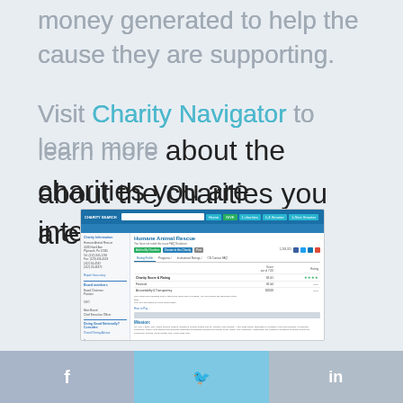money generated to help the cause they are supporting.
Visit Charity Navigator to learn more about the charities you are interested in.
[Figure (screenshot): Screenshot of Charity Navigator website showing a charity profile page for Humane Animal Rescue with rating profile, financial info, and accountability sections.]
f  [twitter bird]  in